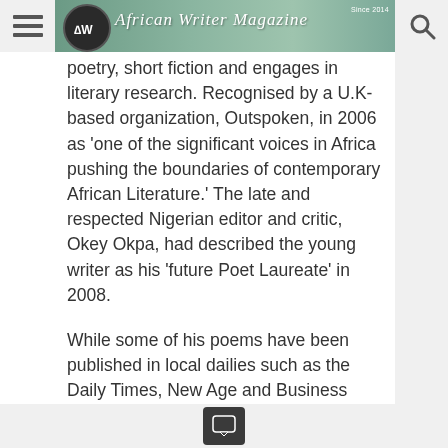African Writer Magazine — Since 2014
poetry, short fiction and engages in literary research. Recognised by a U.K-based organization, Outspoken, in 2006 as 'one of the significant voices in Africa pushing the boundaries of contemporary African Literature.' The late and respected Nigerian editor and critic, Okey Okpa, had described the young writer as his 'future Poet Laureate' in 2008.
While some of his poems have been published in local dailies such as the Daily Times, New Age and Business Times, his early works have also been featured in international anthologies